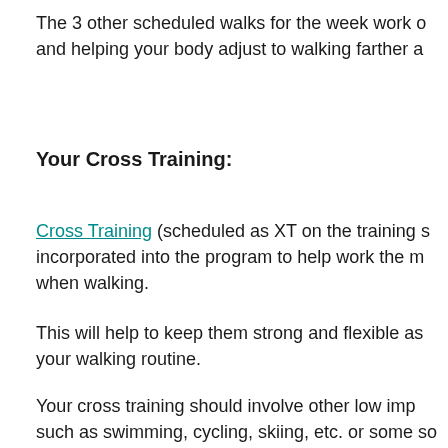The 3 other scheduled walks for the week work on building endurance and helping your body adjust to walking farther and farther.
Your Cross Training:
Cross Training (scheduled as XT on the training schedule) is incorporated into the program to help work the muscles used when walking.
This will help to keep them strong and flexible as you build up your walking routine.
Your cross training should involve other low impact activities such as swimming, cycling, skiing, etc. or some sort of strength program.